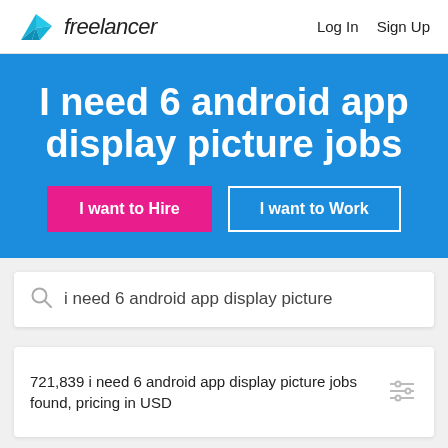[Figure (logo): Freelancer logo with blue origami bird icon and italic 'freelancer' text]
Log In   Sign Up
I need 6 android app display picture jobs
I want to Hire
I want to Work
i need 6 android app display picture
721,839 i need 6 android app display picture jobs found, pricing in USD